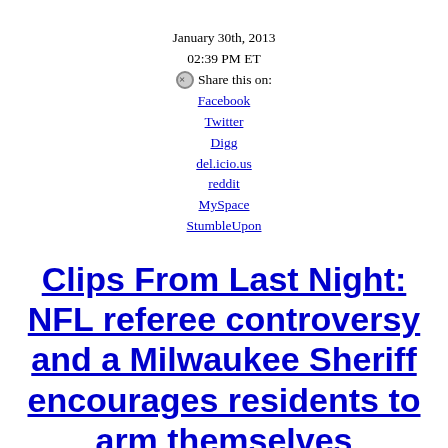January 30th, 2013
02:39 PM ET
⊗Share this on:
Facebook
Twitter
Digg
del.icio.us
reddit
MySpace
StumbleUpon
Clips From Last Night: NFL referee controversy and a Milwaukee Sheriff encourages residents to arm themselves
On Tuesday evening, "Piers Morgan Tonight" welcomed guests